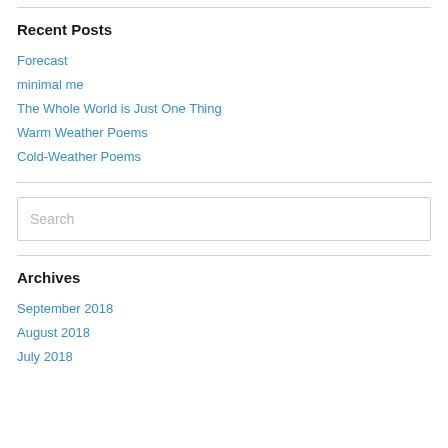Recent Posts
Forecast
minimal me
The Whole World is Just One Thing
Warm Weather Poems
Cold-Weather Poems
Search
Archives
September 2018
August 2018
July 2018